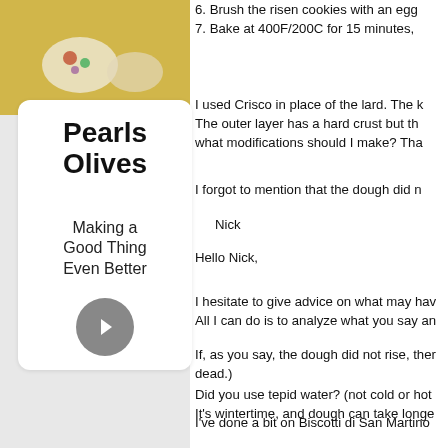[Figure (photo): Food photo with colorful bowls and yellow background, Pearls Olives product visible]
Pearls Olives
Making a Good Thing Even Better
6. Brush the risen cookies with an egg
7. Bake at 400F/200C for 15 minutes,
I used Crisco in place of the lard. The
The outer layer has a hard crust but th
what modifications should I make? Tha
I forgot to mention that the dough did n
Nick
Hello Nick,
I hesitate to give advice on what may ha
All I can do is to analyze what you say a
If, as you say, the dough did not rise, the
dead.)
Did you use tepid water? (not cold or hot
It's wintertime, and dough can take longe
I've done a bit on Biscotti di San Martino
The second recipe that I have linked in th